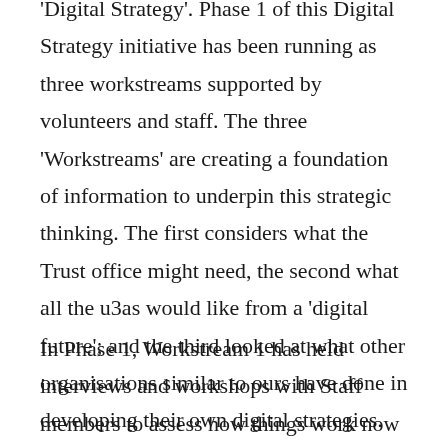'Digital Strategy'. Phase 1 of this Digital Strategy initiative has been running as three workstreams supported by volunteers and staff. The three 'Workstreams' are creating a foundation of information to underpin this strategic thinking. The first considers what the Trust office might need, the second what all the u3as would like from a 'digital future'; and the third looked at what other organisations similar to ours have done in developing their own digital strategies.
In Phase 1, Workstream 1 has held interviews and workshops with Staff members to assess how things work now and how they could be improved.